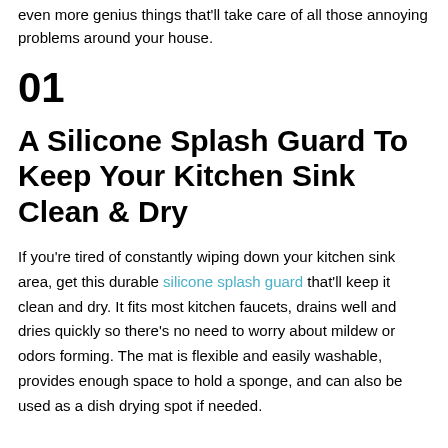even more genius things that'll take care of all those annoying problems around your house.
01
A Silicone Splash Guard To Keep Your Kitchen Sink Clean & Dry
If you're tired of constantly wiping down your kitchen sink area, get this durable silicone splash guard that'll keep it clean and dry. It fits most kitchen faucets, drains well and dries quickly so there's no need to worry about mildew or odors forming. The mat is flexible and easily washable, provides enough space to hold a sponge, and can also be used as a dish drying spot if needed.